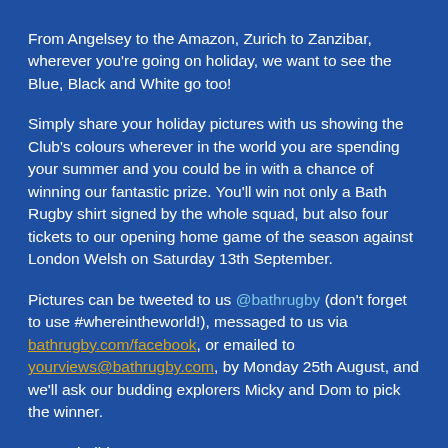From Angelsey to the Amazon, Zurich to Zanzibar, wherever you're going on holiday, we want to see the Blue, Black and White go too!
Simply share your holiday pictures with us showing the Club's colours wherever in the world you are spending your summer and you could be in with a chance of winning our fantastic prize. You'll win not only a Bath Rugby shirt signed by the whole squad, but also four tickets to our opening home game of the season against London Welsh on Saturday 13th September.
Pictures can be tweeted to us @bathrugby (don't forget to use #whereintheworld!), messaged to us via bathrugby.com/facebook, or emailed to yourviews@bathrugby.com, by Monday 25th August, and we'll ask our budding explorers Micky and Dom to pick the winner.
Happy holidays!